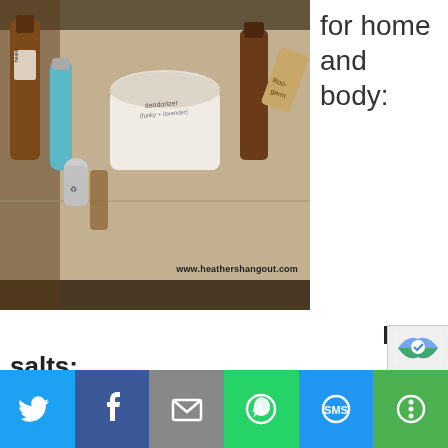[Figure (photo): A photograph of essential oil bottles, a teal spray bottle, a white jar labeled 'deodorizer (funky + lavender)', a brown glass bottle, and other natural/DIY home products arranged on a surface. Watermark: www.heathershangout.com]
for home and body:
Bath salts:
I love a relaxing, warm bath, especially in the winter or after a long, stressful day. This mix of bath salts is a perfect addition to a bath. The scent fills the bathroom and always relaxes and improves my mood!
1 cup Epsom salt
2 tbsp. baking soda
10-15 drops of your favorite essential oils